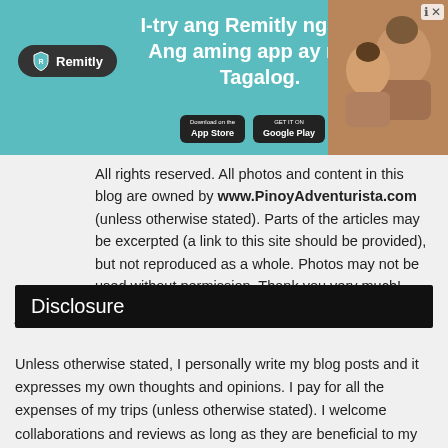[Figure (screenshot): Remitly advertisement banner with teal background, Remitly logo on left, bold white text 'I-try ang Remitly ngayon. Ang aming app ay nasa Tagalog.' in center, App Store and Google Play buttons, and a photo of two people on the right.]
All rights reserved. All photos and content in this blog are owned by www.PinoyAdventurista.com (unless otherwise stated). Parts of the articles may be excerpted (a link to this site should be provided), but not reproduced as a whole. Photos may not be used without permission. Thank you very much!
Disclosure
Unless otherwise stated, I personally write my blog posts and it expresses my own thoughts and opinions. I pay for all the expenses of my trips (unless otherwise stated). I welcome collaborations and reviews as long as they are beneficial to my readers. All reviews on collaborations contain my own views and opinion and were not influenced by anyone. For inquiries, you may contact me here. Thank you very much!